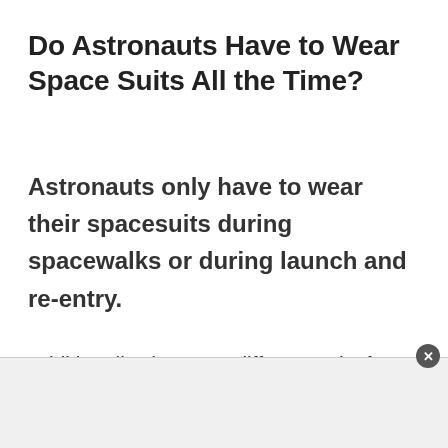Do Astronauts Have to Wear Space Suits All the Time?
Astronauts only have to wear their spacesuits during spacewalks or during launch and re-entry.
Additionally, there are different suits for different purposes.